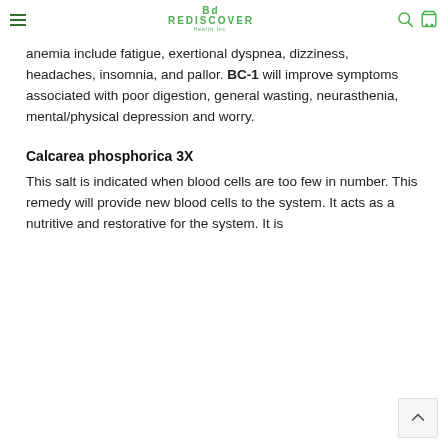REDISCOVER Health Inc.
anemia include fatigue, exertional dyspnea, dizziness, headaches, insomnia, and pallor. BC-1 will improve symptoms associated with poor digestion, general wasting, neurasthenia, mental/physical depression and worry.
Calcarea phosphorica 3X
This salt is indicated when blood cells are too few in number. This remedy will provide new blood cells to the system. It acts as a nutritive and restorative for the system. It is